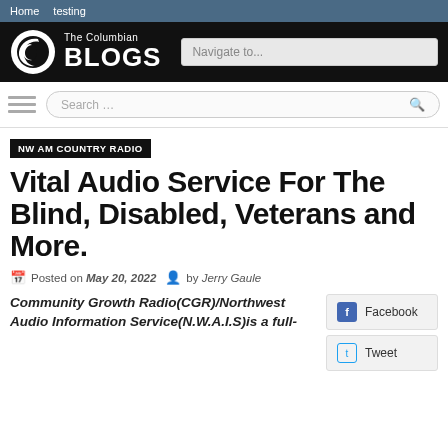Home   testing
[Figure (logo): The Columbian BLOGS logo with circular swoosh emblem on black background, plus Navigate to... dropdown]
Search ...
NW AM COUNTRY RADIO
Vital Audio Service For The Blind, Disabled, Veterans and More.
Posted on May 20, 2022   by Jerry Gaule
Community Growth Radio(CGR)/Northwest Audio Information Service(N.W.A.I.S)is a full-
Facebook
Tweet